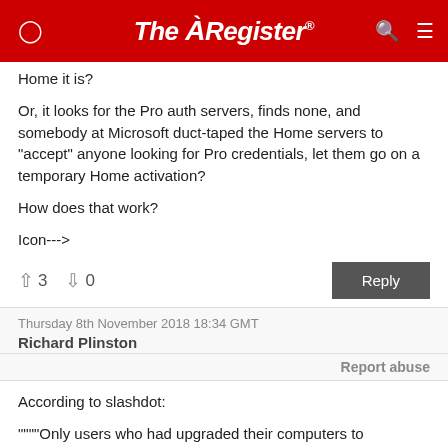The Register
Home it is?

Or, it looks for the Pro auth servers, finds none, and somebody at Microsoft duct-taped the Home servers to "accept" anyone looking for Pro credentials, let them go on a temporary Home activation?

How does that work?

Icon--->
↑3  ↓0   Reply
Thursday 8th November 2018 18:34 GMT
Richard Plinston
Report abuse
According to slashdot:
""""Only users who had upgraded their computers to